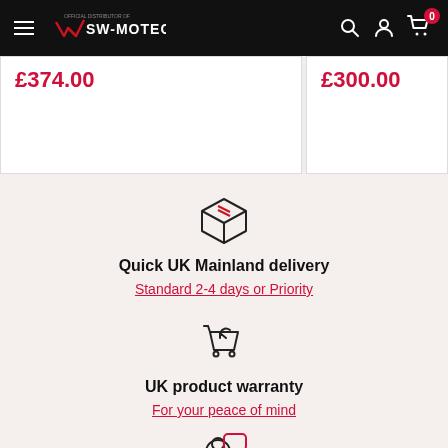SW-MOTECH official distributor navigation bar
£374.00
£300.00
[Figure (illustration): Package/box icon representing delivery]
Quick UK Mainland delivery
Standard 2-4 days or Priority
[Figure (illustration): Shopping cart with return arrow icon representing product warranty]
UK product warranty
For your peace of mind
[Figure (illustration): Person with speech bubble icon representing support, partially visible at bottom]